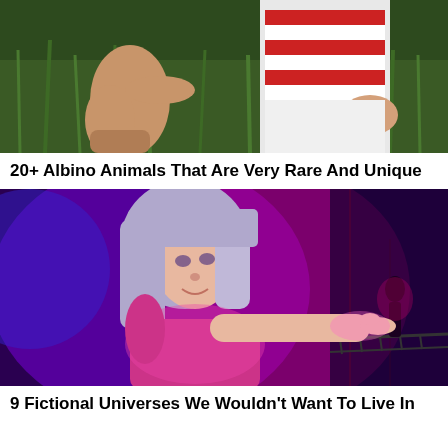[Figure (photo): Partial photo showing two people sitting in tall green grass, one wearing a red and white striped shirt, cropped at the top of the page]
20+ Albino Animals That Are Very Rare And Unique
[Figure (photo): Digital artwork or movie still of a stylized woman with silver-lavender bob haircut in a purple-blue glowing environment, pointing her finger toward a dark silhouette figure in the background]
9 Fictional Universes We Wouldn't Want To Live In